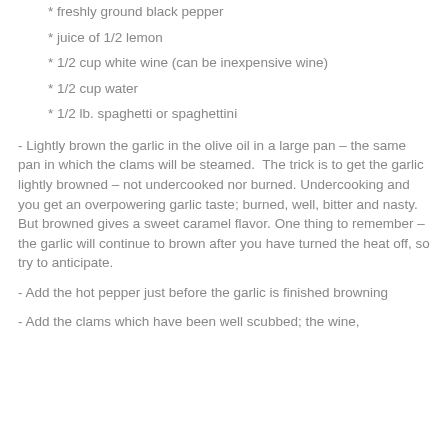* freshly ground black pepper
* juice of 1/2 lemon
* 1/2 cup white wine (can be inexpensive wine)
* 1/2 cup water
* 1/2 lb. spaghetti or spaghettini
- Lightly brown the garlic in the olive oil in a large pan – the same pan in which the clams will be steamed.  The trick is to get the garlic lightly browned – not undercooked nor burned. Undercooking and you get an overpowering garlic taste; burned, well, bitter and nasty.  But browned gives a sweet caramel flavor. One thing to remember – the garlic will continue to brown after you have turned the heat off, so try to anticipate.
- Add the hot pepper just before the garlic is finished browning
- Add the clams which have been well scubbed; the wine,